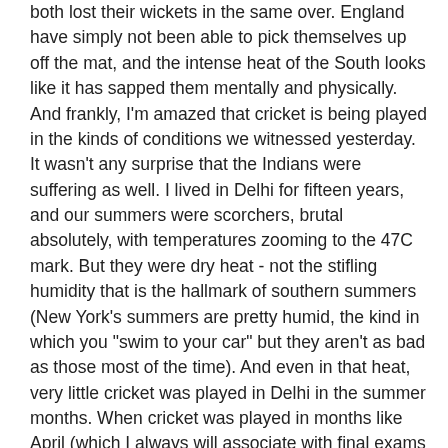both lost their wickets in the same over. England have simply not been able to pick themselves up off the mat, and the intense heat of the South looks like it has sapped them mentally and physically. And frankly, I'm amazed that cricket is being played in the kinds of conditions we witnessed yesterday. It wasn't any surprise that the Indians were suffering as well. I lived in Delhi for fifteen years, and our summers were scorchers, brutal absolutely, with temperatures zooming to the 47C mark. But they were dry heat - not the stifling humidity that is the hallmark of southern summers (New York's summers are pretty humid, the kind in which you "swim to your car" but they aren't as bad as those most of the time). And even in that heat, very little cricket was played in Delhi in the summer months. When cricket was played in months like April (which I always will associate with final exams and summer's brutal onset), we did so early in the mornings, running out to the park to get in a game before 8AM, and then after 7PM in the evenings. The question of playing during the day did not arise. I remember being amazed by Ranji Finals being played in the month of April. Under these circumstances, there was very little chance that England's players would